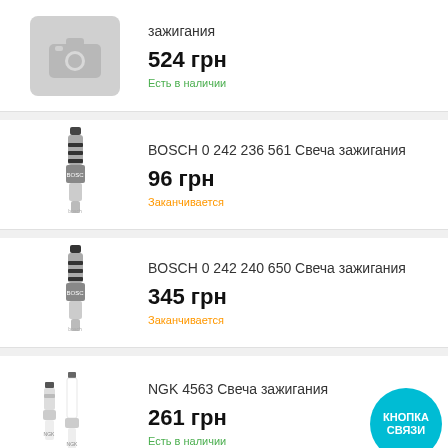[Figure (photo): Placeholder camera icon (no product image available)]
зажигания
524 грн
Есть в наличии
[Figure (photo): BOSCH spark plug product photo]
BOSCH 0 242 236 561 Свеча зажигания
96 грн
Заканчивается
[Figure (photo): BOSCH spark plug product photo]
BOSCH 0 242 240 650 Свеча зажигания
345 грн
Заканчивается
[Figure (photo): NGK spark plug product photo]
NGK 4563 Свеча зажигания
261 грн
Есть в наличии